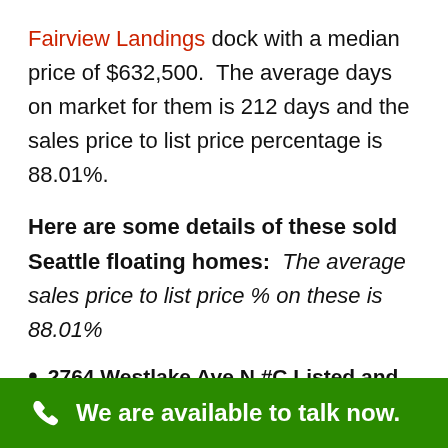Fairview Landings dock with a median price of $632,500. The average days on market for them is 212 days and the sales price to list price percentage is 88.01%.
Here are some details of these sold Seattle floating homes: The average sales price to list price % on these is 88.01%
2764 Westlake Ave N #C Listed and Sold by Cooper Jacobs Real Estate listed for $399,000/ sold for $355,000 (SP/LP: 88.97%
We are available to talk now.